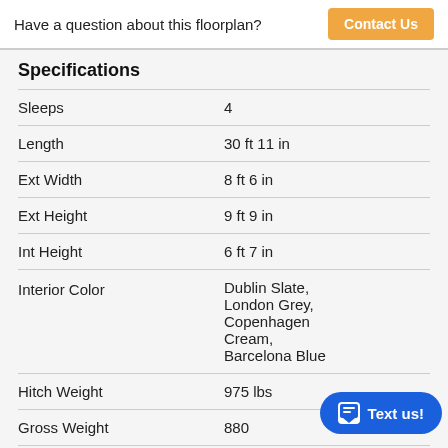Have a question about this floorplan?
Contact Us
Specifications
|  |  |
| --- | --- |
| Sleeps | 4 |
| Length | 30 ft 11 in |
| Ext Width | 8 ft 6 in |
| Ext Height | 9 ft 9 in |
| Int Height | 6 ft 7 in |
| Interior Color | Dublin Slate, London Grey, Copenhagen Cream, Barcelona Blue |
| Hitch Weight | 975 lbs |
| Gross Weight | 880 |
| Dry Weight | 695 |
| Cargo Weight | 1810 lbs |
Text us!